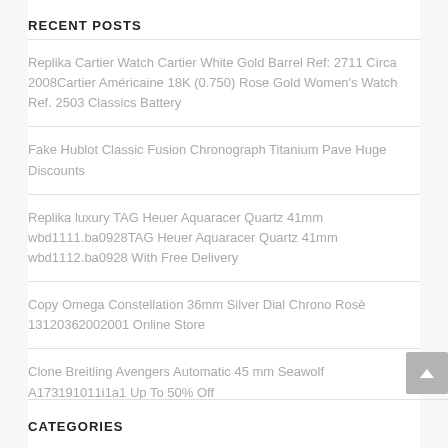RECENT POSTS
Replika Cartier Watch Cartier White Gold Barrel Ref: 2711 Circa 2008Cartier Américaine 18K (0.750) Rose Gold Women's Watch Ref. 2503 Classics Battery
Fake Hublot Classic Fusion Chronograph Titanium Pave Huge Discounts
Replika luxury TAG Heuer Aquaracer Quartz 41mm wbd1111.ba0928TAG Heuer Aquaracer Quartz 41mm wbd1112.ba0928 With Free Delivery
Copy Omega Constellation 36mm Silver Dial Chrono Rosè 13120362002001 Online Store
Clone Breitling Avengers Automatic 45 mm Seawolf A173191011i1a1 Up To 50% Off
CATEGORIES